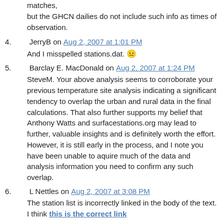matches,
but the GHCN dailies do not include such info as times of observation.
4. JerryB on Aug 2, 2007 at 1:01 PM
And I misspelled stations.dat. 😐
5. Barclay E. MacDonald on Aug 2, 2007 at 1:24 PM
SteveM. Your above analysis seems to corroborate your previous temperature site analysis indicating a significant tendency to overlap the urban and rural data in the final calculations. That also further supports my belief that Anthony Watts and surfacestations.org may lead to further, valuable insights and is definitely worth the effort. However, it is still early in the process, and I note you have been unable to aquire much of the data and analysis information you need to confirm any such overlap.
6. L Nettles on Aug 2, 2007 at 3:08 PM
The station list is incorrectly linked in the body of the text. I think this is the correct link
If this is the correct list I've been to 3 of the sites in South Carolina. Winnsboro is posted on Surface Stations and is a City Water Plant. Little Mountain is a private residence. Parr is a power station. it was located at a nuclear power station.